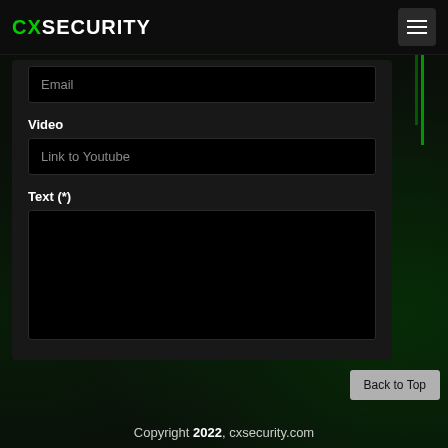CXSECURITY
Email
Video
Link to Youtube
Text (*)
Back to Top
Copyright 2022, cxsecurity.com